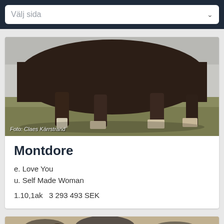Välj sida
[Figure (photo): Partial view of a dark brown horse body showing legs and lower torso standing on dry grass. Photo credit: Claes Kärrstrand]
Foto: Claes Kärrstrand
Montdore
e. Love You
u. Self Made Woman
1.10,1ak   3 293 493 SEK
[Figure (photo): Partial view of another horse, visible from lower body, standing outdoors with trees and rocks in background]